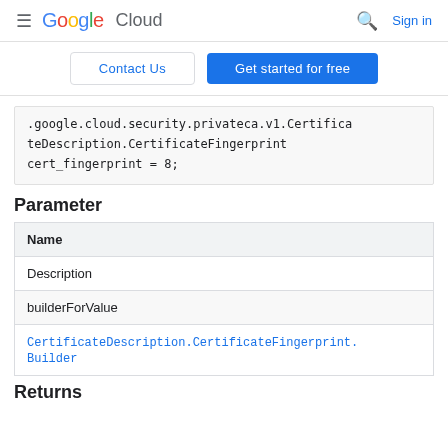≡ Google Cloud  🔍 Sign in
Contact Us | Get started for free
.google.cloud.security.privateca.v1.CertificateDescription.CertificateFingerprint cert_fingerprint = 8;
Parameter
| Name |
| --- |
| Description |
| builderForValue |
| CertificateDescription.CertificateFingerprint.Builder |
Returns